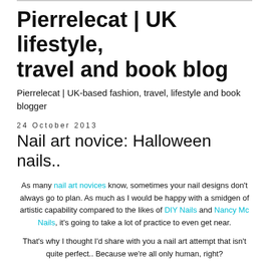Pierrelecat | UK lifestyle, travel and book blog
Pierrelecat | UK-based fashion, travel, lifestyle and book blogger
24 October 2013
Nail art novice: Halloween nails..
As many nail art novices know, sometimes your nail designs don't always go to plan. As much as I would be happy with a smidgen of artistic capability compared to the likes of DIY Nails and Nancy Mc Nails, it's going to take a lot of practice to even get near.
That's why I thought I'd share with you a nail art attempt that isn't quite perfect.. Because we're all only human, right?
At the beginning of the month you may have spotted this photo on my Instagram..